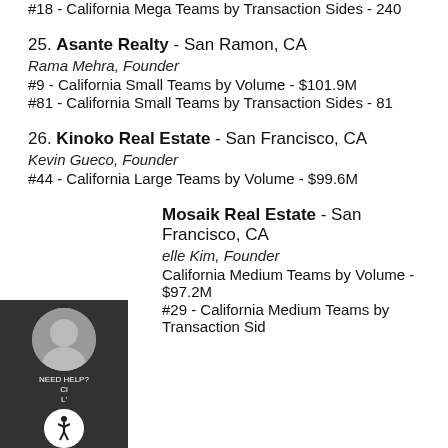#18 - California Mega Teams by Transaction Sides - 240
25. Asante Realty - San Ramon, CA
Rama Mehra, Founder
#9 - California Small Teams by Volume - $101.9M
#81 - California Small Teams by Transaction Sides - 81
26. Kinoko Real Estate - San Francisco, CA
Kevin Gueco, Founder
#44 - California Large Teams by Volume - $99.6M
Mosaik Real Estate - San Francisco, CA
elle Kim, Founder
California Medium Teams by Volume - $97.2M
#29 - California Medium Teams by Transaction Side